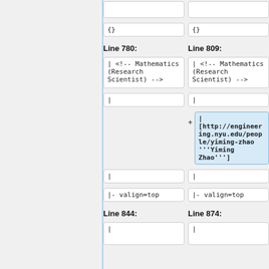{}
{}
Line 780:
Line 809:
| <!-- Mathematics (Research Scientist) -->
| <!-- Mathematics (Research Scientist) -->
|
|
| [http://engineering.nyu.edu/people/yiming-zhao """Yiming Zhao"""]
|
|
|- valign=top
|- valign=top
Line 844:
Line 874:
|
|